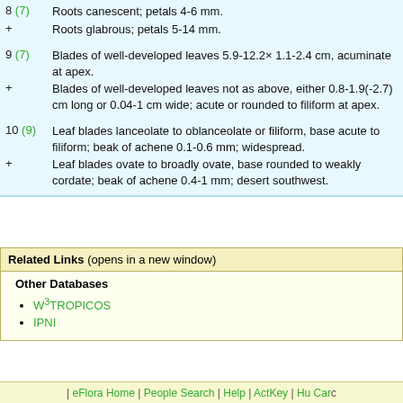8 (7)  Roots canescent; petals 4-6 mm.
+  Roots glabrous; petals 5-14 mm.
9 (7)  Blades of well-developed leaves 5.9-12.2× 1.1-2.4 cm, acuminate at apex.
+  Blades of well-developed leaves not as above, either 0.8-1.9(-2.7) cm long or 0.04-1 cm wide; acute or rounded to filiform at apex.
10 (9)  Leaf blades lanceolate to oblanceolate or filiform, base acute to filiform; beak of achene 0.1-0.6 mm; widespread.
+  Leaf blades ovate to broadly ovate, base rounded to weakly cordate; beak of achene 0.4-1 mm; desert southwest.
Related Links (opens in a new window)
Other Databases
W3TROPICOS
IPNI
| eFlora Home | People Search | Help | ActKey | Hu Card